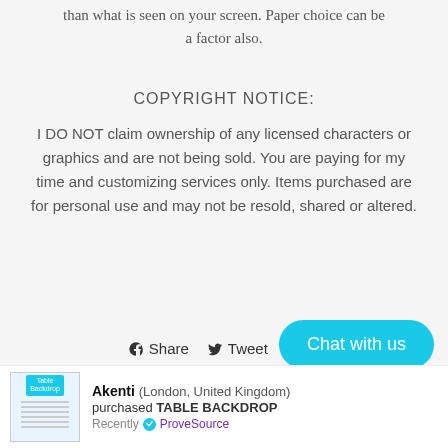than what is seen on your screen. Paper choice can be a factor also.
COPYRIGHT NOTICE:
I DO NOT claim ownership of any licensed characters or graphics and are not being sold. You are paying for my time and customizing services only. Items purchased are for personal use and may not be resold, shared or altered.
Share  Tweet  Pin
Chat with us
Akenti (London, United Kingdom) purchased TABLE BACKDROP Recently ✓ ProveSource